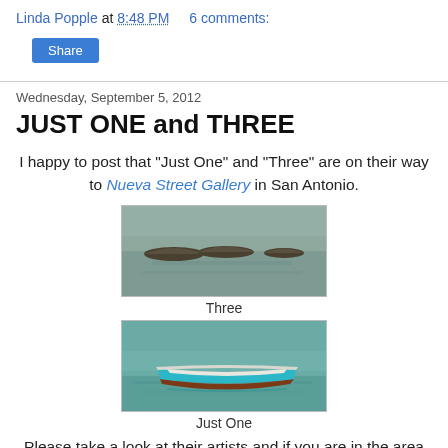Linda Popple at 8:48 PM   6 comments:
Share
Wednesday, September 5, 2012
JUST ONE and THREE
I happy to post that "Just One" and "Three" are on their way to Nueva Street Gallery in San Antonio.
[Figure (illustration): Painting of three small boats resting on calm water, grayish-teal tones]
Three
[Figure (illustration): Painting of one blue and white boat on calm teal-green water]
Just One
Please take a look at their artists and if you are in the area stop by!